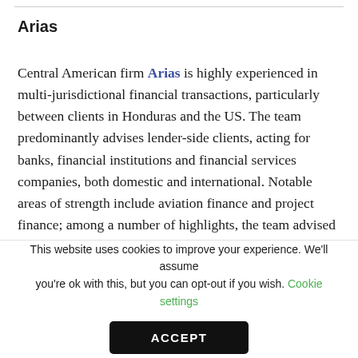Arias
Central American firm Arias is highly experienced in multi-jurisdictional financial transactions, particularly between clients in Honduras and the US. The team predominantly advises lender-side clients, acting for banks, financial institutions and financial services companies, both domestic and international. Notable areas of strength include aviation finance and project finance; among a number of highlights, the team advised a Canadian fund on the financing of a submarine telecom…
This website uses cookies to improve your experience. We'll assume you're ok with this, but you can opt-out if you wish. Cookie settings
ACCEPT